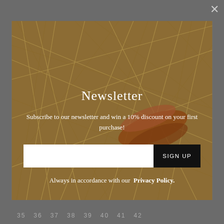[Figure (photo): Modal popup overlay on a website showing a newsletter signup form. Background is a close-up photo of dry straw/grass with a brown sandal/flip-flop visible. The modal contains a title, description text, an email input field, a SIGN UP button, and a privacy policy note. Below the modal are size numbers 35-42 visible at the bottom of the page.]
Newsletter
Subscribe to our newsletter and win a 10% discount on your first purchase!
Always in accordance with our Privacy Policy.
35  36  37  38  39  40  41  42